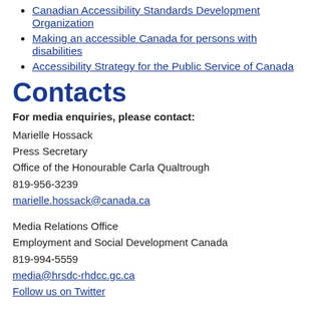Canadian Accessibility Standards Development Organization
Making an accessible Canada for persons with disabilities
Accessibility Strategy for the Public Service of Canada
Contacts
For media enquiries, please contact:
Marielle Hossack
Press Secretary
Office of the Honourable Carla Qualtrough
819-956-3239
marielle.hossack@canada.ca
Media Relations Office
Employment and Social Development Canada
819-994-5559
media@hrsdc-rhdcc.gc.ca
Follow us on Twitter